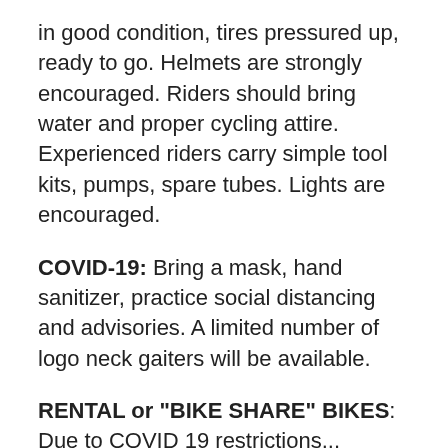in good condition, tires pressured up, ready to go. Helmets are strongly encouraged. Riders should bring water and proper cycling attire. Experienced riders carry simple tool kits, pumps, spare tubes. Lights are encouraged.
COVID-19: Bring a mask, hand sanitizer, practice social distancing and advisories. A limited number of logo neck gaiters will be available.
RENTAL or "BIKE SHARE" BIKES: Due to COVID 19 restrictions... Participants will have to reserve rental bikes on their own, in advance. Try Wheelhouse Detroit but be advised their [text cut off] of COVID 19... W...